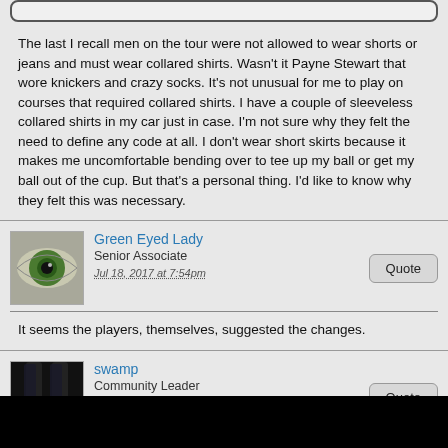The last I recall men on the tour were not allowed to wear shorts or jeans and must wear collared shirts.  Wasn't it Payne Stewart that wore knickers and crazy socks.  It's not unusual for me to play on courses that required collared shirts.  I have a couple of sleeveless collared shirts in my car just in case.  I'm not sure why they felt the need to define any code at all.  I don't wear short skirts because it makes me uncomfortable bending over to tee up my ball or get my ball out of the cup.  But that's a personal thing.  I'd like to know why they felt this was necessary.
Green Eyed Lady
Senior Associate
Jul 18, 2017 at 7:54pm
It seems the players, themselves, suggested the changes.
swamp
Community Leader
Jul 18, 2017 at 7:56pm
sounds like someone was playing with their boobs spilling out.